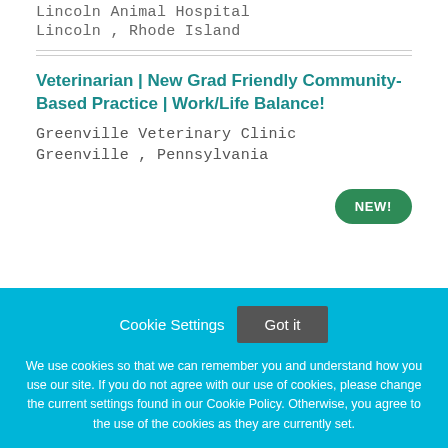Lincoln Animal Hospital
Lincoln , Rhode Island
Veterinarian | New Grad Friendly Community-Based Practice | Work/Life Balance!
Greenville Veterinary Clinic
Greenville , Pennsylvania
NEW!
Cookie Settings
Got it
We use cookies so that we can remember you and understand how you use our site. If you do not agree with our use of cookies, please change the current settings found in our Cookie Policy. Otherwise, you agree to the use of the cookies as they are currently set.